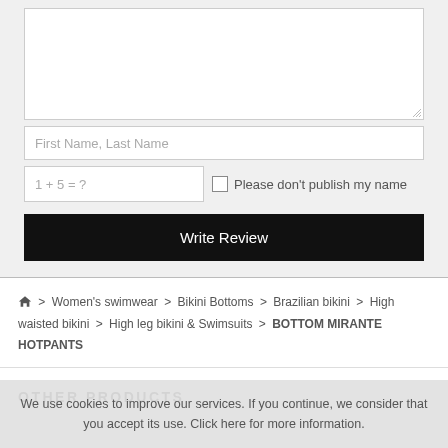[Figure (screenshot): Form section with textarea, name input, captcha field, checkbox, and Write Review button on a light grey background]
First Name, Last Name
1 + 5 = ?
Please don't publish my name
Write Review
🏠 > Women's swimwear > Bikini Bottoms > Brazilian bikini > High waisted bikini > High leg bikini & Swimsuits > BOTTOM MIRANTE HOTPANTS
OTHER PRODUCTS
We use cookies to improve our services. If you continue, we consider that you accept its use. Click here for more information.